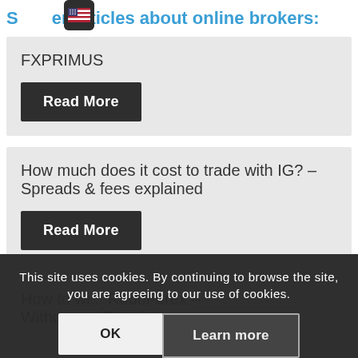See other articles about online brokers:
FXPRIMUS
Read More
How much does it cost to trade with IG? – Spreads & fees explained
Read More
This site uses cookies. By continuing to browse the site, you are agreeing to our use of cookies.
OK
Learn more
How to wi... RoboForex – Withdrawal Tutorial